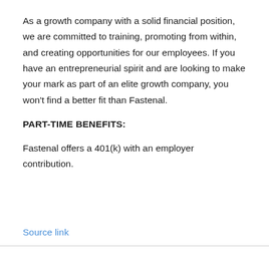As a growth company with a solid financial position, we are committed to training, promoting from within, and creating opportunities for our employees. If you have an entrepreneurial spirit and are looking to make your mark as part of an elite growth company, you won't find a better fit than Fastenal.
PART-TIME BENEFITS:
Fastenal offers a 401(k) with an employer contribution.
Source link